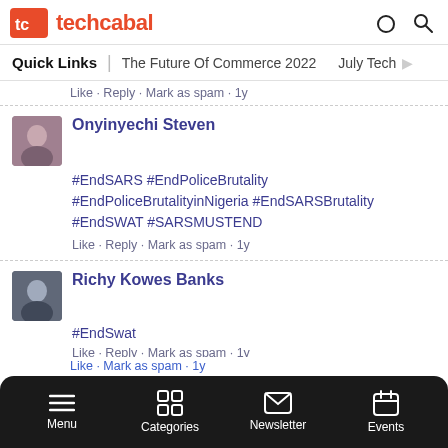techcabal
Quick Links | The Future Of Commerce 2022  July Tech
Like · Reply · Mark as spam · 1y
Onyinyechi Steven
#EndSARS #EndPoliceBrutality #EndPoliceBrutalityinNigeria #EndSARSBrutality #EndSWAT #SARSMUSTEND
Like · Reply · Mark as spam · 1y
Richy Kowes Banks
#EndSwat
Like · Reply · Mark as spam · 1y
Awe Taofeeq
Menu  Categories  Newsletter  Events